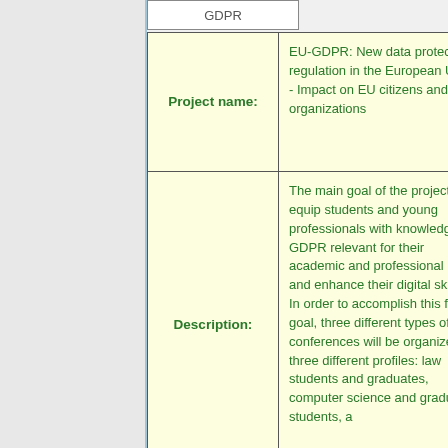| Field | Content |
| --- | --- |
| Project name: | EU-GDPR: New data protection regulation in the European Union - Impact on EU citizens and organizations |
| Description: | The main goal of the project is to equip students and young professionals with knowledge of GDPR relevant for their academic and professional lives and enhance their digital skills. In order to accomplish this first goal, three different types of conferences will be organized for three different profiles: law students and graduates, computer science and graduate students, and... |